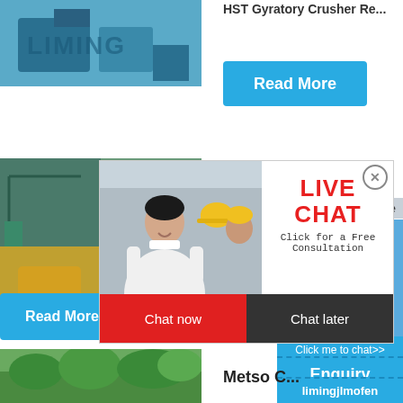[Figure (photo): Blue machinery/equipment with LIMING branding in top-left]
HST Gyratory Crusher Re...
[Figure (screenshot): Read More button (blue)]
[Figure (photo): Portable crusher / industrial machinery collage on left]
Portable Crusher
[Figure (infographic): Live Chat popup overlay with worker photo, LIVE CHAT heading, Click for a Free Consultation, Chat now and Chat later buttons]
hour online
[Figure (photo): Crusher machine image on right widget]
Click me to chat>>
Enquiry
limingjlmofen
[Figure (screenshot): Read More button (blue) on bottom left]
[Figure (photo): Green landscape/trees photo at bottom left]
Metso C...